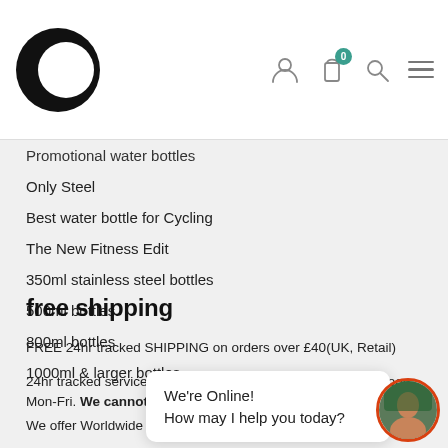[Figure (logo): Black circular logo with crescent C shape on white nav bar]
Promotional water bottles
Only Steel
Best water bottle for Cycling
The New Fitness Edit
350ml stainless steel bottles
500ml bottles
800ml bottles
1000ml & larger bottles
free shipping
FREE 24hr tracked SHIPPING on orders over £40(UK, Retail)
24hr tracked service shipping order must be received by 12noon Mon-Fri. We cannot gu...
We offer Worldwide sh...
[Figure (screenshot): Chat widget bubble saying "We're Online! How may I help you today?" with avatar photo]